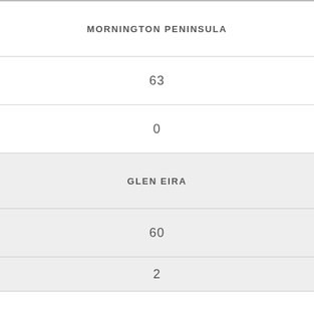| MORNINGTON PENINSULA |
| 63 |
| 0 |
| GLEN EIRA |
| 60 |
| 2 |